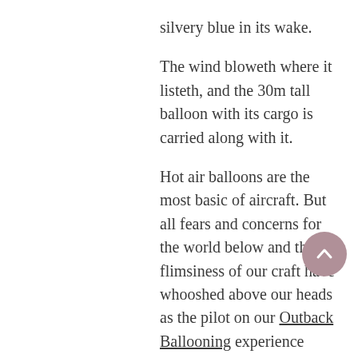silvery blue in its wake.
The wind bloweth where it listeth, and the 30m tall balloon with its cargo is carried along with it.
Hot air balloons are the most basic of aircraft. But all fears and concerns for the world below and the flimsiness of our craft have whooshed above our heads as the pilot on our Outback Ballooning experience pumps the burners to send jets of orange, blue and white hot propane fuel into the balloon.
We float aimlessly through the first heaven, unaware of our progress. There is no airspeed, no aerodynamic lift, no vibration and no wind noise. We cannot pitch or roll.
The G-free experience is like gently